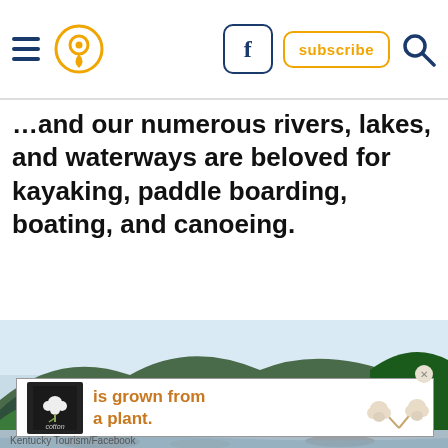Navigation header with hamburger menu, location pin icon, Facebook button, subscribe button, search icon
...and our numerous rivers, lakes, and waterways are beloved for kayaking, paddle boarding, boating, and canoeing.
[Figure (photo): Scenic river valley with lush green forested hills/mountains, rocky riverbank, bright sky, and dense tree canopy. Caption: Kentucky Tourism/Facebook]
[Figure (infographic): Advertisement banner: Cotton logo (white cotton boll on black background) with text 'is grown from a plant.' and decorative cotton bolls on right side. Orange text on white background.]
Kentucky Tourism/Facebook